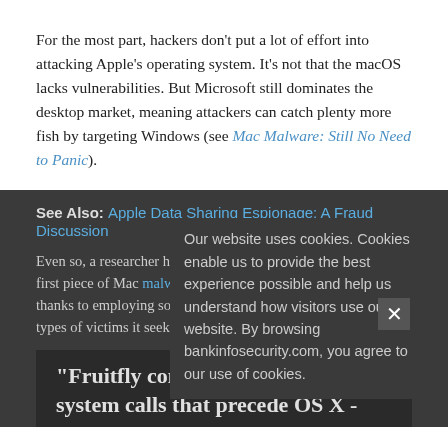For the most part, hackers don't put a lot of effort into attacking Apple's operating system. It's not that the macOS lacks vulnerabilities. But Microsoft still dominates the desktop market, meaning attackers can catch plenty more fish by targeting Windows (see Mac Malware: Still No Need to Panic).
See Also: Apple Data Sharing Espionage: A Fraud Discussion
Even so, a researcher has cracked open what appears to be the first piece of Mac malware for the year, and it's a curiosity thanks to employing some very old code, as well as the specific types of victims it seeks.
"Fruitfly contains functions and system calls that precede OS X -
Our website uses cookies. Cookies enable us to provide the best experience possible and help us understand how visitors use our website. By browsing bankinfosecurity.com, you agree to our use of cookies.